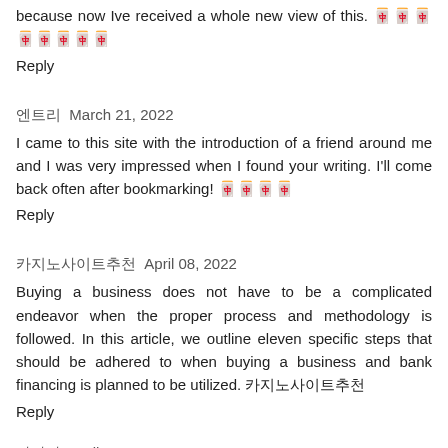because now Ive received a whole new view of this. 🀄🀄🀄🀄🀄🀄🀄🀄
Reply
엔트리  March 21, 2022
I came to this site with the introduction of a friend around me and I was very impressed when I found your writing. I'll come back often after bookmarking! 🀄🀄🀄🀄
Reply
카지노사이트추천  April 08, 2022
Buying a business does not have to be a complicated endeavor when the proper process and methodology is followed. In this article, we outline eleven specific steps that should be adhered to when buying a business and bank financing is planned to be utilized. 카지노사이트추천
Reply
바카라  April 08, 2022